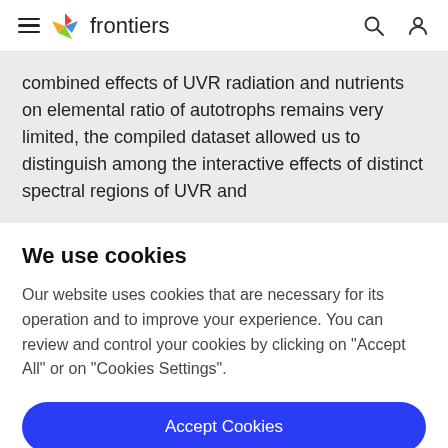frontiers
combined effects of UVR radiation and nutrients on elemental ratio of autotrophs remains very limited, the compiled dataset allowed us to distinguish among the interactive effects of distinct spectral regions of UVR and
We use cookies
Our website uses cookies that are necessary for its operation and to improve your experience. You can review and control your cookies by clicking on "Accept All" or on "Cookies Settings".
Accept Cookies
Cookies Settings